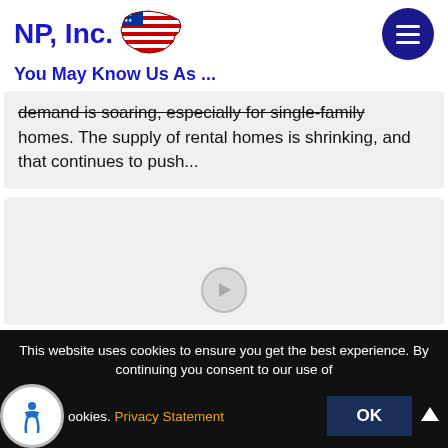[Figure (logo): NP, Inc. logo with text 'NP, Inc.' in bold blue and a USA flag map graphic]
You May Know Us As ...
demand is soaring, especially for single-family homes. The supply of rental homes is shrinking, and that continues to push...
[Figure (other): Gray card area with a circular play button icon at the bottom center]
This website uses cookies to ensure you get the best experience. By continuing you consent to our use of cookies. Privacy Statement OK